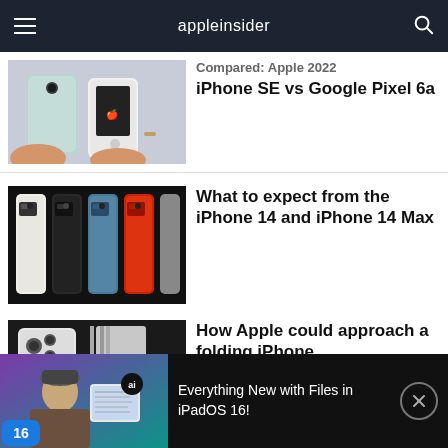appleinsider
[Figure (photo): Two hands holding phones - Google Pixel 6a and iPhone SE side by side]
Compared: Apple 2022 iPhone SE vs Google Pixel 6a
[Figure (photo): Multiple iPhone 13 models in different colors (white, black, blue, red) lined up on a dark surface]
What to expect from the iPhone 14 and iPhone 14 Max
[Figure (photo): White iPhone Pro with folding concept design, titanium strips visible]
How Apple could approach a folding iPhone
[Figure (screenshot): Video thumbnail showing person holding iPad, with iOS 16 logo in corner and 'ai' badge. Title: Everything New with Files in iPadOS 16!]
Everything New with Files in iPadOS 16!